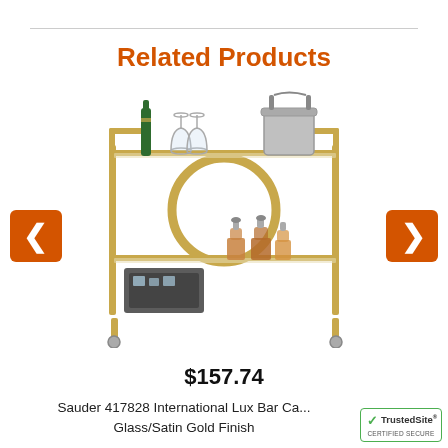Related Products
[Figure (photo): Gold bar cart with two glass shelves, circular decorative ring, champagne bottle, wine glasses, ice bucket on top shelf, decanters and tray on bottom shelf. Navigation arrows (left/right) on either side.]
$157.74
Sauder 417828 International Lux Bar Ca... Glass/Satin Gold Finish